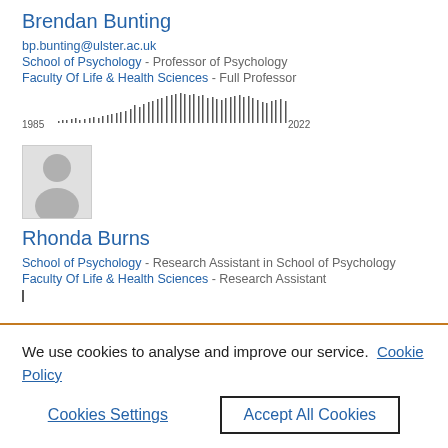Brendan Bunting
bp.bunting@ulster.ac.uk
School of Psychology - Professor of Psychology
Faculty Of Life & Health Sciences - Full Professor
[Figure (bar-chart): Bar chart showing publication activity from 1985 to 2022]
[Figure (photo): Default avatar/placeholder image for Rhonda Burns]
Rhonda Burns
School of Psychology - Research Assistant in School of Psychology
Faculty Of Life & Health Sciences - Research Assistant
We use cookies to analyse and improve our service. Cookie Policy
Cookies Settings
Accept All Cookies